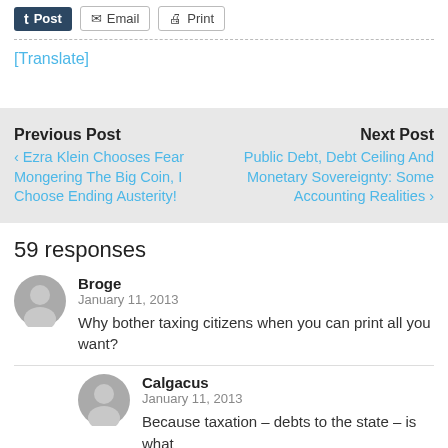Post | Email | Print
[Translate]
Previous Post
< Ezra Klein Chooses Fear Mongering The Big Coin, I Choose Ending Austerity!
Next Post
Public Debt, Debt Ceiling And Monetary Sovereignty: Some Accounting Realities >
59 responses
Broge
January 11, 2013
Why bother taxing citizens when you can print all you want?
Calgacus
January 11, 2013
Because taxation – debts to the state – is what